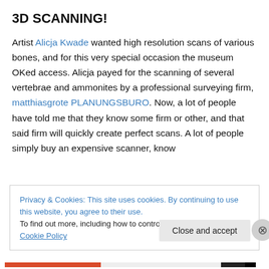3D SCANNING!
Artist Alicja Kwade wanted high resolution scans of various bones, and for this very special occasion the museum OKed access. Alicja payed for the scanning of several vertebrae and ammonites by a professional surveying firm, matthiasgrote PLANUNGSBURO. Now, a lot of people have told me that they know some firm or other, and that said firm will quickly create perfect scans. A lot of people simply buy an expensive scanner, know
Privacy & Cookies: This site uses cookies. By continuing to use this website, you agree to their use.
To find out more, including how to control cookies, see here: Cookie Policy
Close and accept